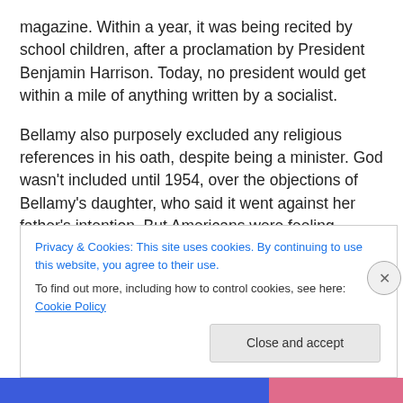magazine.  Within a year, it was being recited by school children, after a proclamation by President Benjamin Harrison.  Today, no president would get within a mile of anything written by a socialist.
Bellamy also purposely excluded any religious references in his oath, despite being a minister.  God wasn't included until 1954, over the objections of Bellamy's daughter, who said it went against her father's intention.  But Americans were feeling threatened by godless communism and wanted to distinguish themselves.  Perhaps we were
Privacy & Cookies: This site uses cookies. By continuing to use this website, you agree to their use.
To find out more, including how to control cookies, see here: Cookie Policy
Close and accept